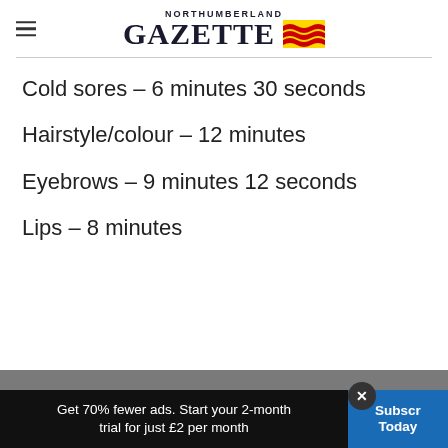NORTHUMBERLAND GAZETTE
Cold sores – 6 minutes 30 seconds
Hairstyle/colour – 12 minutes
Eyebrows – 9 minutes 12 seconds
Lips – 8 minutes
Eyes – 7 minutes 24 seconds
Get 70% fewer ads. Start your 2-month trial for just £2 per month | Subscribe Today